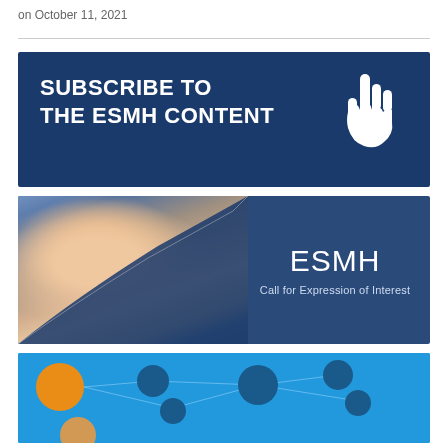on October 11, 2021
[Figure (infographic): Dark navy blue banner with bold white text 'SUBSCRIBE TO THE ESMH CONTENT' and a white hand/cursor icon on the right]
[Figure (photo): Composite image: photo of a young woman with glasses resting her chin on her hand, overlaid with a dark blue panel on the right showing 'ESMH' in large white text and 'Call for Expression of Interest' below]
[Figure (infographic): Blue banner showing a network/mind-map diagram with an orange circle, small blue nodes with labels including 'Politics & Regulation', connected by lines on a light blue background]